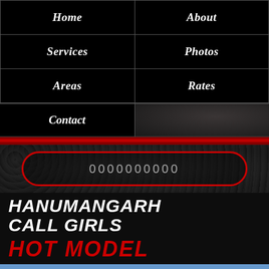| Home | About |
| --- | --- |
| Services | Photos |
| Areas | Rates |
Contact
0000000000
HANUMANGARH CALL GIRLS
HOT MODEL
Call Now
Whatsup